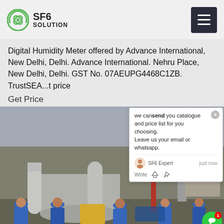SF6 SOLUTION
Digital Humidity Meter offered by Advance International, New Delhi, Delhi. Advance International. Nehru Place, New Delhi, Delhi. GST No. 07AEUPG4468C1ZB. TrustSEAL ... best price
Get Price
[Figure (photo): Industrial workers in blue hard hats and coveralls working on large grey cylindrical gas equipment (SF6 apparatus) at an outdoor substation with power lines in background]
we can send you catalogue and price list for you choosing. Leave us your email or whatsapp.